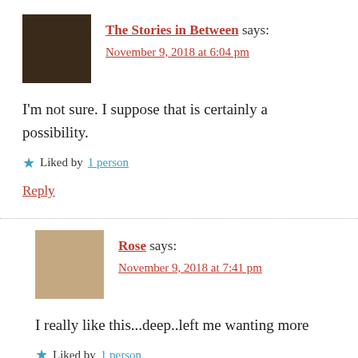The Stories in Between says: November 9, 2018 at 6:04 pm
I'm not sure. I suppose that is certainly a possibility.
Liked by 1 person
Reply
Rose says: November 9, 2018 at 7:41 pm
I really like this...deep..left me wanting more
Liked by 1 person